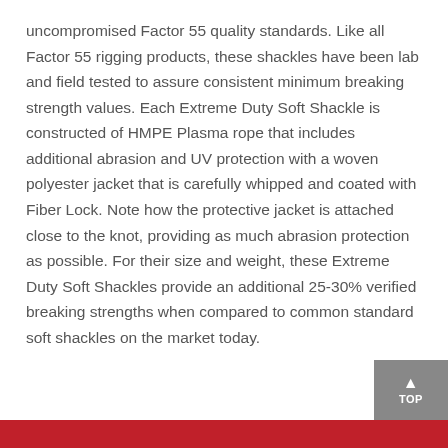uncompromised Factor 55 quality standards. Like all Factor 55 rigging products, these shackles have been lab and field tested to assure consistent minimum breaking strength values. Each Extreme Duty Soft Shackle is constructed of HMPE Plasma rope that includes additional abrasion and UV protection with a woven polyester jacket that is carefully whipped and coated with Fiber Lock. Note how the protective jacket is attached close to the knot, providing as much abrasion protection as possible. For their size and weight, these Extreme Duty Soft Shackles provide an additional 25-30% verified breaking strengths when compared to common standard soft shackles on the market today.